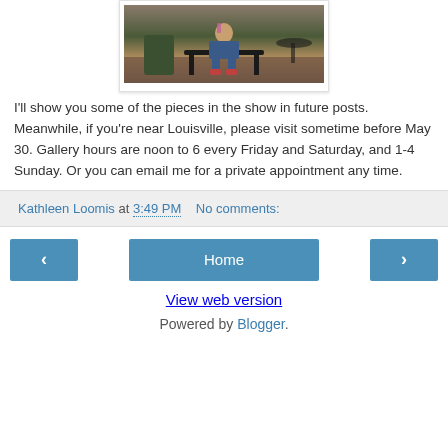[Figure (photo): Photo of a child sitting on a decorative black metal bench outdoors, with garden furniture visible in the background]
I'll show you some of the pieces in the show in future posts. Meanwhile, if you're near Louisville, please visit sometime before May 30.  Gallery hours are noon to 6 every Friday and Saturday, and 1-4 Sunday.  Or you can email me for a private appointment any time.
Kathleen Loomis at 3:49 PM    No comments:
‹  Home  ›
View web version
Powered by Blogger.